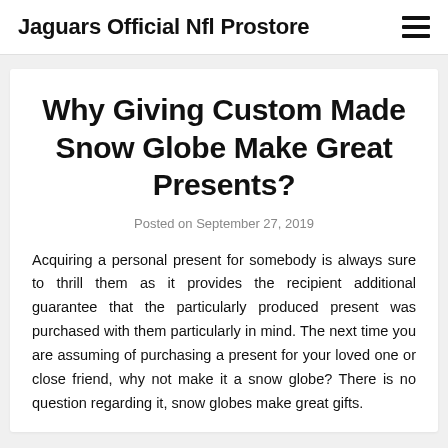Jaguars Official Nfl Prostore
Why Giving Custom Made Snow Globe Make Great Presents?
Posted on September 27, 2019
Acquiring a personal present for somebody is always sure to thrill them as it provides the recipient additional guarantee that the particularly produced present was purchased with them particularly in mind. The next time you are assuming of purchasing a present for your loved one or close friend, why not make it a snow globe? There is no question regarding it, snow globes make great gifts.